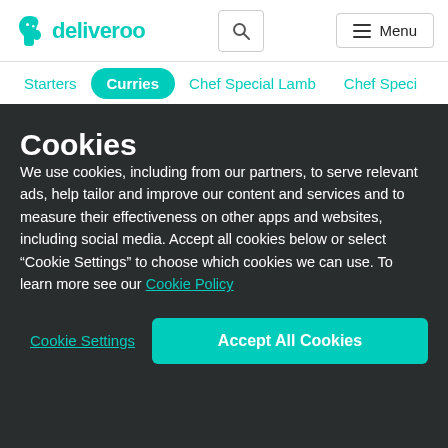deliveroo
Starters | Curries | Chef Special Lamb | Chef Speci
Cookies
We use cookies, including from our partners, to serve relevant ads, help tailor and improve our content and services and to measure their effectiveness on other apps and websites, including social media. Accept all cookies below or select “Cookie Settings” to choose which cookies we can use. To learn more see our Cookie Policy
Cookie Settings | Accept All Cookies